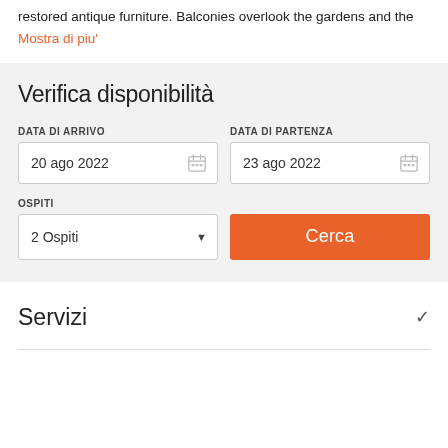restored antique furniture. Balconies overlook the gardens and the
Mostra di piu'
Verifica disponibilità
DATA DI ARRIVO
20 ago 2022
DATA DI PARTENZA
23 ago 2022
OSPITI
2 Ospiti
Cerca
Servizi